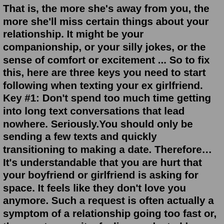That is, the more she's away from you, the more she'll miss certain things about your relationship. It might be your companionship, or your silly jokes, or the sense of comfort or excitement ... So to fix this, here are three keys you need to start following when texting your ex girlfriend. Key #1: Don't spend too much time getting into long text conversations that lead nowhere. Seriously.You should only be sending a few texts and quickly transitioning to making a date. Therefore…It's understandable that you are hurt that your boyfriend or girlfriend is asking for space. It feels like they don't love you anymore. Such a request is often actually a symptom of a relationship going too fast or, the exact opposite, feeling neglected by you. Yet the request for space must be met the same way, with total respect.Girlfriend wants space and i feel bad about it. [new] TLDR : She moved to another city for her college and wants space from me so that she can enjoy her college time and i feel sad about her wanting space. I M (22) and my girlfriend F (22) are in a LDR since 1 year now. We've known each other